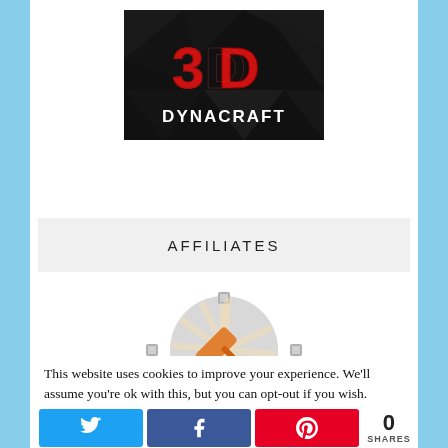[Figure (logo): 3D Dynacraft logo on dark geometric black background with red '3D' stylized text and white 'DYNACRAFT' lettering]
AFFILIATES
[Figure (logo): Affiliate badge icon showing an orange paint roller/brush on a sunburst background with a gear/cog border]
This website uses cookies to improve your experience. We'll assume you're ok with this, but you can opt-out if you wish.
[Figure (infographic): Social share bar with Twitter, Facebook, and Pinterest buttons, and a share count of 0]